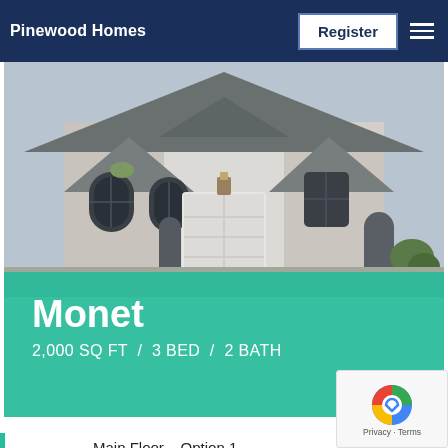Pinewood Homes
[Figure (photo): Exterior photo of a large stone and stucco luxury home with arched windows, a central garage door, and a steep shingled roof]
Monet
2,000 SQ FT  /  3 BED  /  2 BATH
Main Floor – Option 1
Second Floor – Option 3